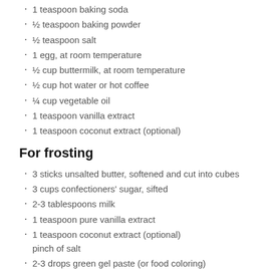1 teaspoon baking soda
½ teaspoon baking powder
½ teaspoon salt
1 egg, at room temperature
½ cup buttermilk, at room temperature
½ cup hot water or hot coffee
¼ cup vegetable oil
1 teaspoon vanilla extract
1 teaspoon coconut extract (optional)
For frosting
3 sticks unsalted butter, softened and cut into cubes
3 cups confectioners' sugar, sifted
2-3 tablespoons milk
1 teaspoon pure vanilla extract
1 teaspoon coconut extract (optional)
pinch of salt
2-3 drops green gel paste (or food coloring)
Preparation
For the Cupcakes: